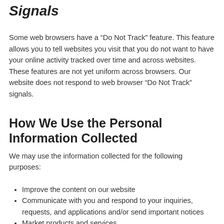Signals
Some web browsers have a “Do Not Track” feature. This feature allows you to tell websites you visit that you do not want to have your online activity tracked over time and across websites. These features are not yet uniform across browsers. Our website does not respond to web browser “Do Not Track” signals.
How We Use the Personal Information Collected
We may use the information collected for the following purposes:
Improve the content on our website
Communicate with you and respond to your inquiries, requests, and applications and/or send important notices
Market products and services